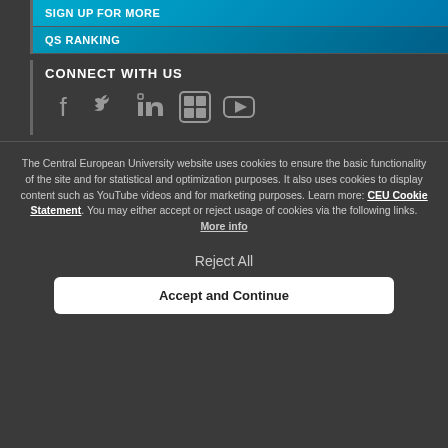SIGN UP FOR MORE
QS RANKING
CONNECT WITH US
[Figure (infographic): Social media icons: Facebook, Twitter, LinkedIn, Flickr, YouTube]
The Central European University website uses cookies to ensure the basic functionality of the site and for statistical and optimization purposes. It also uses cookies to display content such as YouTube videos and for marketing purposes. Learn more: CEU Cookie Statement. You may either accept or reject usage of cookies via the following links. More info
Reject All
Accept and Continue